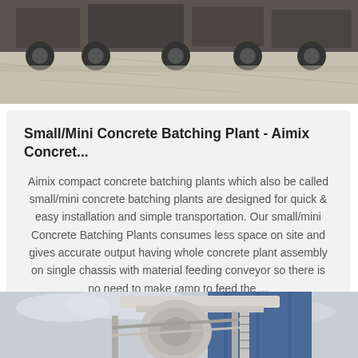[Figure (photo): Top portion of a concrete batching plant or heavy vehicle on a concrete surface, partially cropped]
Small/Mini Concrete Batching Plant - Aimix Concret...
Aimix compact concrete batching plants which also be called small/mini concrete batching plants are designed for quick & easy installation and simple transportation. Our small/mini Concrete Batching Plants consumes less space on site and gives accurate output having whole concrete plant assembly on single chassis with material feeding conveyor so there is no need to make ramp to feed the ...
Get Price
[Figure (photo): Bottom portion of a large industrial concrete batching plant structure with blue and white elements against a grey sky]